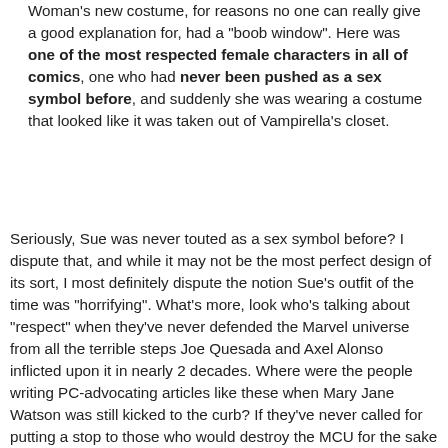Woman's new costume, for reasons no one can really give a good explanation for, had a "boob window". Here was one of the most respected female characters in all of comics, one who had never been pushed as a sex symbol before, and suddenly she was wearing a costume that looked like it was taken out of Vampirella's closet.
Seriously, Sue was never touted as a sex symbol before? I dispute that, and while it may not be the most perfect design of its sort, I most definitely dispute the notion Sue's outfit of the time was "horrifying". What's more, look who's talking about "respect" when they've never defended the Marvel universe from all the terrible steps Joe Quesada and Axel Alonso inflicted upon it in nearly 2 decades. Where were the people writing PC-advocating articles like these when Mary Jane Watson was still kicked to the curb? If they've never called for putting a stop to those who would destroy the MCU for the sake of their petty politics, they have no business lecturing us. And coming from Vampirella's closet?!? It doesn't even look close.